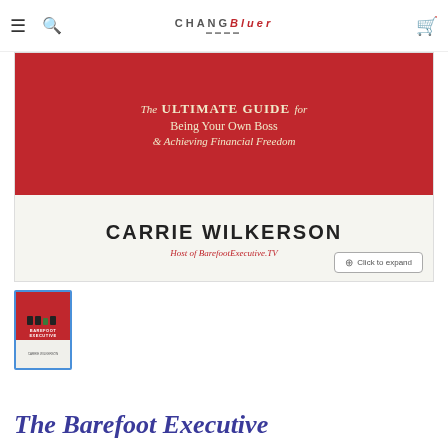Navigation bar with menu, search, Changebiter logo, and cart icon
[Figure (illustration): Book cover for 'The Barefoot Executive' by Carrie Wilkerson. Red upper section with title 'The ULTIMATE GUIDE for Being Your Own Boss & Achieving Financial Freedom'. White/cream lower section with author name 'CARRIE WILKERSON' and subtitle 'Host of BarefootExecutive.TV'. Click to expand button in lower right.]
[Figure (illustration): Thumbnail of the Barefoot Executive book cover, small version with blue border]
The Barefoot Executive